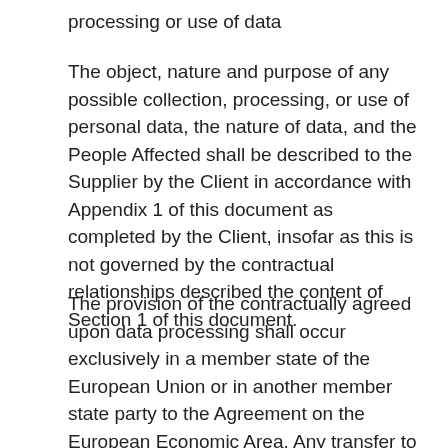processing or use of data
The object, nature and purpose of any possible collection, processing, or use of personal data, the nature of data, and the People Affected shall be described to the Supplier by the Client in accordance with Appendix 1 of this document as completed by the Client, insofar as this is not governed by the contractual relationships described the content of Section 1 of this document.
The provision of the contractually agreed upon data processing shall occur exclusively in a member state of the European Union or in another member state party to the Agreement on the European Economic Area. Any transfer to a third country shall require the prior consent of the Client and may only occur if the special conditions defined in Articles 44 et seq. of the